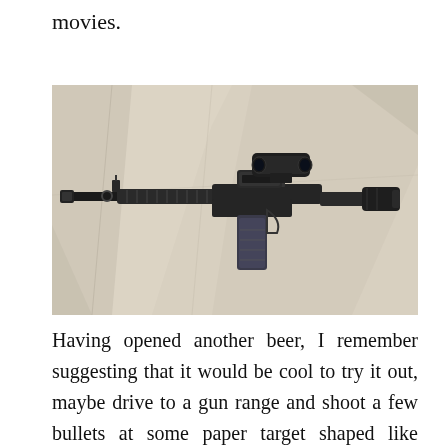movies.
[Figure (photo): Photograph of a black AR-15 style semi-automatic rifle with a scope/optic mounted on top and a magazine inserted, laid flat on a light-colored crumpled fabric background.]
Having opened another beer, I remember suggesting that it would be cool to try it out, maybe drive to a gun range and shoot a few bullets at some paper target shaped like rampaging soldiers. Greg just stared at me and